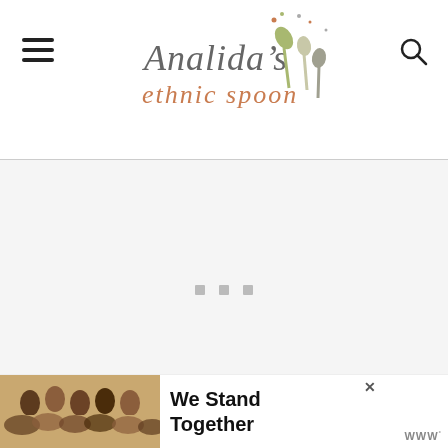[Figure (logo): Analida's Ethnic Spoon logo with decorative spoons and script text]
[Figure (other): Advertisement placeholder area with three small gray squares and Wunderkind tag]
If you want to have another seafood dish to enjoy with your grilled shrimp then I recommend...both and the...ad.
[Figure (photo): Bottom banner advertisement: We Stand Together, with photo of people with arms around each other]